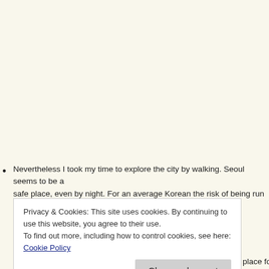Nevertheless I took my time to explore the city by walking. Seoul seems to be a safe place, even by night. For an average Korean the risk of being run over by a ...
Privacy & Cookies: This site uses cookies. By continuing to use this website, you agree to their use. To find out more, including how to control cookies, see here: Cookie Policy
Close and accept
nice contrast to Seocho and, as only found out very late, a vivid place for young...